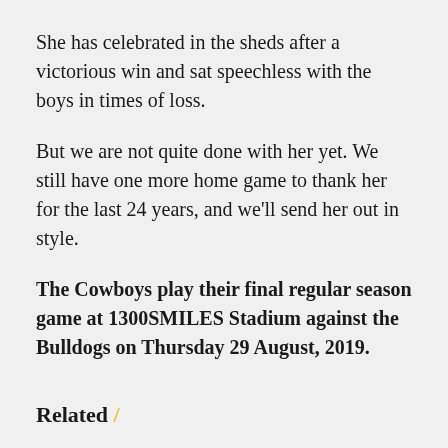She has celebrated in the sheds after a victorious win and sat speechless with the boys in times of loss.
But we are not quite done with her yet. We still have one more home game to thank her for the last 24 years, and we'll send her out in style.
The Cowboys play their final regular season game at 1300SMILES Stadium against the Bulldogs on Thursday 29 August, 2019.
Related /